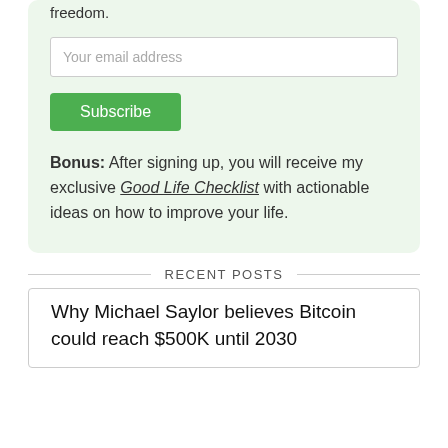freedom.
Your email address
Subscribe
Bonus: After signing up, you will receive my exclusive Good Life Checklist with actionable ideas on how to improve your life.
RECENT POSTS
Why Michael Saylor believes Bitcoin could reach $500K until 2030